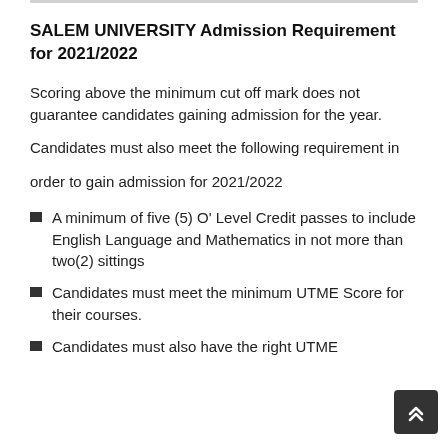SALEM UNIVERSITY Admission Requirement for 2021/2022
Scoring above the minimum cut off mark does not guarantee candidates gaining admission for the year.
Candidates must also meet the following requirement in
order to gain admission for 2021/2022
A minimum of five (5) O' Level Credit passes to include English Language and Mathematics in not more than two(2) sittings
Candidates must meet the minimum UTME Score for their courses.
Candidates must also have the right UTME